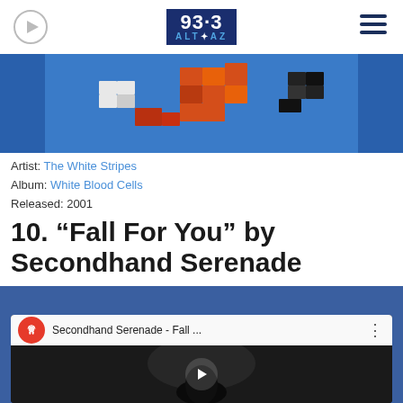93.3 ALT+AZ
[Figure (photo): LEGO brick art photo used as album art, featuring colorful pixelated LEGO construction with blue, red, orange, white, and black bricks]
Artist: The White Stripes
Album: White Blood Cells
Released: 2001
10. “Fall For You” by Secondhand Serenade
[Figure (screenshot): YouTube video embed showing Secondhand Serenade - Fall... with red circular channel icon, video title bar, and dark video thumbnail with play button]